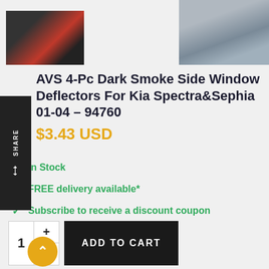[Figure (photo): Product image strip showing car interior and exterior mirror shots]
AVS 4-Pc Dark Smoke Side Window Deflectors For Kia Spectra&Sephia 01-04 - 94760
$3.43 USD
In Stock
FREE delivery available*
Subscribe to receive a discount coupon